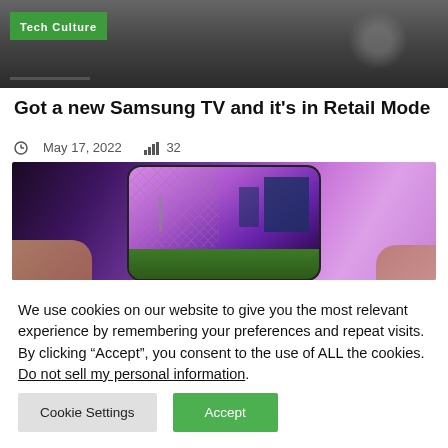[Figure (photo): Dark header area with Tech Culture green badge label]
Got a new Samsung TV and it's in Retail Mode
May 17, 2022  32
[Figure (photo): Person holding a smartphone displaying a Fortnite-like mobile game with purple sky and building]
We use cookies on our website to give you the most relevant experience by remembering your preferences and repeat visits. By clicking “Accept”, you consent to the use of ALL the cookies.
Do not sell my personal information.
Cookie Settings  Accept